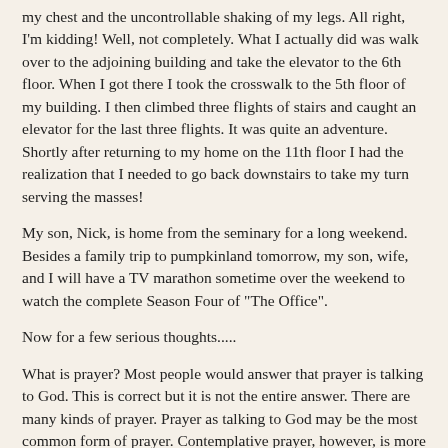my chest and the uncontrollable shaking of my legs. All right, I'm kidding! Well, not completely. What I actually did was walk over to the adjoining building and take the elevator to the 6th floor. When I got there I took the crosswalk to the 5th floor of my building. I then climbed three flights of stairs and caught an elevator for the last three flights. It was quite an adventure. Shortly after returning to my home on the 11th floor I had the realization that I needed to go back downstairs to take my turn serving the masses!
My son, Nick, is home from the seminary for a long weekend. Besides a family trip to pumpkinland tomorrow, my son, wife, and I will have a TV marathon sometime over the weekend to watch the complete Season Four of "The Office".
Now for a few serious thoughts.....
What is prayer? Most people would answer that prayer is talking to God. This is correct but it is not the entire answer. There are many kinds of prayer. Prayer as talking to God may be the most common form of prayer. Contemplative prayer, however, is more about listening to God. Instead of going to God with a laundry list of